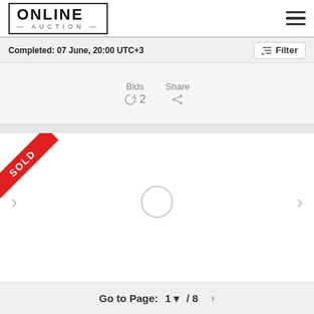[Figure (logo): Online Auction logo in bordered box with ONLINE in large bold text and — AUCTION — below]
Completed: 07 June, 20:00 UTC+3
Filter
[Figure (screenshot): Auction item card with Bids (2) and Share icons]
[Figure (screenshot): Auction item card with SOLD ribbon overlay, left/right navigation arrows, and loading circle placeholder]
Go to Page: 1 ▼ / 8 >